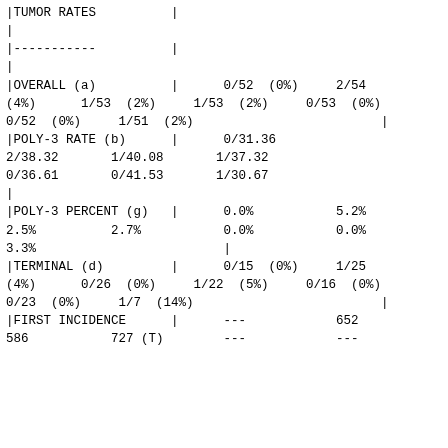| |TUMOR RATES | | |  |  |
| | |  |  |  |
| |----------- | | |  |  |
| | |  |  |  |
| |OVERALL (a) | | | 0/52 (0%) | 2/54 (4%)   1/53 (2%)   1/53 (2%)   0/53 (0%)   0/52 (0%)   1/51 (2%) | | |
| |POLY-3 RATE (b) | | | 0/31.36   2/38.32   1/40.08   1/37.32   0/36.61   0/41.53   1/30.67 |  |
| | |  |  |  |
| |POLY-3 PERCENT (g) | | | 0.0%   5.2%   2.5%   2.7%   0.0%   0.0%   3.3% | | |
| |TERMINAL (d) | | | 0/15 (0%)   1/25 (4%)   0/26 (0%)   1/22 (5%)   0/16 (0%)   0/23 (0%)   1/7 (14%) | | |
| |FIRST INCIDENCE | | | ---   652   586   727 (T)   ---   --- |  |